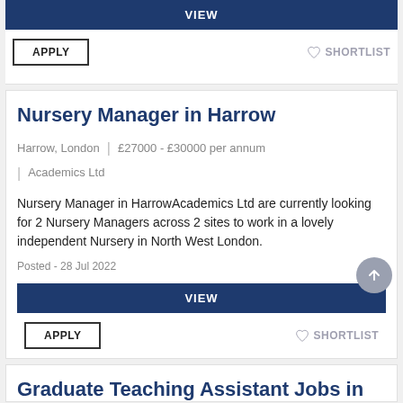VIEW
APPLY
SHORTLIST
Nursery Manager in Harrow
Harrow, London | £27000 - £30000 per annum | Academics Ltd
Nursery Manager in HarrowAcademics Ltd are currently looking for 2 Nursery Managers across 2 sites to work in a lovely independent Nursery in North West London.
Posted - 28 Jul 2022
VIEW
APPLY
SHORTLIST
Graduate Teaching Assistant Jobs in